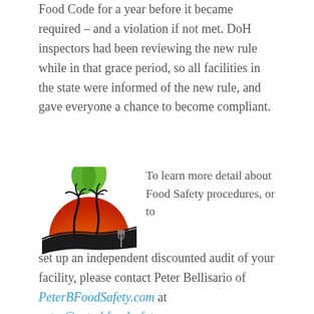Food Code for a year before it became required – and a violation if not met. DoH inspectors had been reviewing the new rule while in that grace period, so all facilities in the state were informed of the new rule, and gave everyone a chance to become compliant.
[Figure (logo): PeterBFoodSafety.com logo: orange/red sunset with two palm trees silhouetted, green leaves on top, fork shape integrated, dark swoosh at base]
To learn more detail about Food Safety procedures, or to set up an independent discounted audit of your facility, please contact Peter Bellisario of PeterBFoodSafety.com at peter@peterbfoodsafety.com or